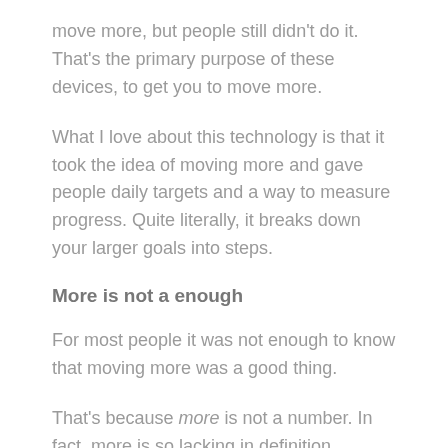move more, but people still didn't do it. That's the primary purpose of these devices, to get you to move more.
What I love about this technology is that it took the idea of moving more and gave people daily targets and a way to measure progress. Quite literally, it breaks down your larger goals into steps.
More is not a enough
For most people it was not enough to know that moving more was a good thing.
That's because more is not a number. In fact, more is so lacking in definition, pursuing it